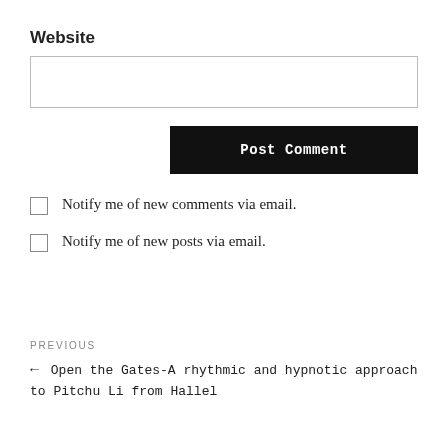Website
[Figure (other): Empty text input field for website URL]
Post Comment
Notify me of new comments via email.
Notify me of new posts via email.
PREVIOUS
← Open the Gates-A rhythmic and hypnotic approach to Pitchu Li from Hallel